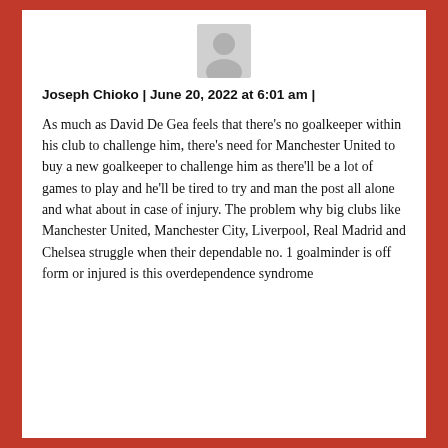[Figure (illustration): Grey placeholder avatar icon of a person silhouette]
Joseph Chioko | June 20, 2022 at 6:01 am |
As much as David De Gea feels that there’s no goalkeeper within his club to challenge him, there’s need for Manchester United to buy a new goalkeeper to challenge him as there’ll be a lot of games to play and he’ll be tired to try and man the post all alone and what about in case of injury. The problem why big clubs like Manchester United, Manchester City, Liverpool, Real Madrid and Chelsea struggle when their dependable no. 1 goalminder is off form or injured is this overdependence syndrome